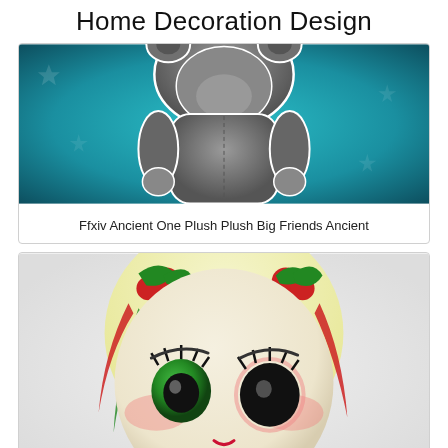Home Decoration Design
[Figure (photo): A grey plush toy stuffed animal against a teal/blue sparkly background, shown from the chest up with a hooded appearance]
Ffxiv Ancient One Plush Plush Big Friends Ancient
[Figure (photo): A Harley Quinn style vinyl/plush doll with blonde hair with red and green highlights, large black stylized eyes with pink eyeshadow, red lips, wearing a Christmas-themed outfit with holly decorations]